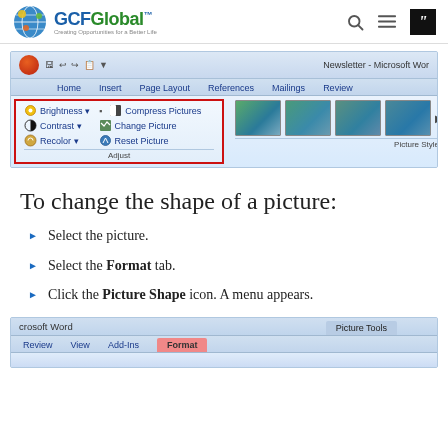GCFGlobal - Creating Opportunities for a Better Life
[Figure (screenshot): Microsoft Word ribbon screenshot showing the Adjust group (highlighted in red border) with Brightness, Contrast, Recolor, Compress Pictures, Change Picture, Reset Picture options, and Picture Styles thumbnails]
To change the shape of a picture:
Select the picture.
Select the Format tab.
Click the Picture Shape icon. A menu appears.
[Figure (screenshot): Microsoft Word ribbon bottom screenshot showing Review, View, Add-Ins tabs and Format tab (active, highlighted in pink) under Picture Tools]